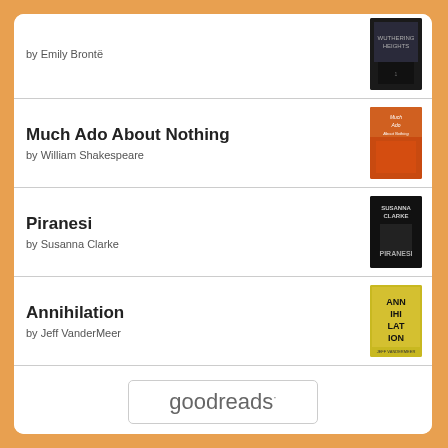by Emily Brontë
Much Ado About Nothing
by William Shakespeare
Piranesi
by Susanna Clarke
Annihilation
by Jeff VanderMeer
A Woman of the World
by Genie Chipps Henderson
[Figure (logo): goodreads logo button]